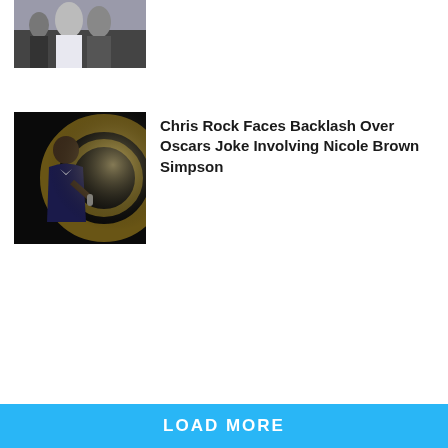[Figure (photo): Top news article thumbnail showing people at what appears to be an awards event, woman in white dress visible]
[Figure (photo): Chris Rock on stage at the Oscars, wearing a dark blue suit and bow tie, holding a microphone, stage lighting in background]
Chris Rock Faces Backlash Over Oscars Joke Involving Nicole Brown Simpson
LOAD MORE